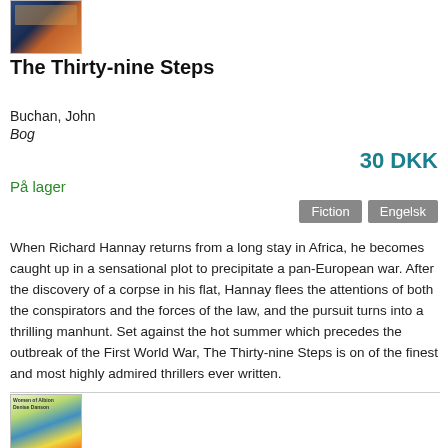[Figure (photo): Book cover thumbnail for The Thirty-nine Steps, dark blue and orange tones]
The Thirty-nine Steps
Buchan, John
Bog
30 DKK
På lager
Fiction   Engelsk
When Richard Hannay returns from a long stay in Africa, he becomes caught up in a sensational plot to precipitate a pan-European war. After the discovery of a corpse in his flat, Hannay flees the attentions of both the conspirators and the forces of the law, and the pursuit turns into a thrilling manhunt. Set against the hot summer which precedes the outbreak of the First World War, The Thirty-nine Steps is on of the finest and most highly admired thrillers ever written.
[Figure (photo): Book cover thumbnail at bottom, colorful illustration with figures at a table outdoors]